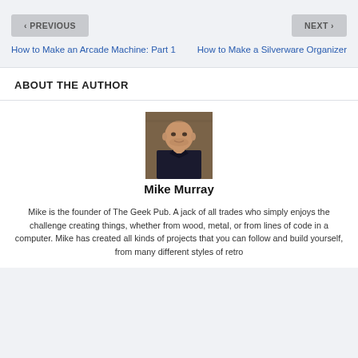< PREVIOUS
NEXT >
How to Make an Arcade Machine: Part 1
How to Make a Silverware Organizer
ABOUT THE AUTHOR
[Figure (photo): Portrait photo of Mike Murray, a bald man in a dark shirt standing in front of a brick wall]
Mike Murray
Mike is the founder of The Geek Pub. A jack of all trades who simply enjoys the challenge creating things, whether from wood, metal, or from lines of code in a computer. Mike has created all kinds of projects that you can follow and build yourself, from many different styles of retro